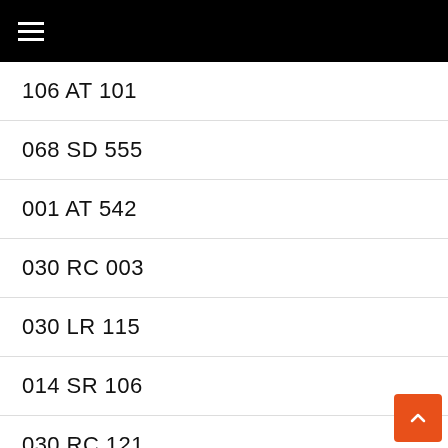☰
106 AT 101
068 SD 555
001 AT 542
030 RC 003
030 LR 115
014 SR 106
030 RC 121
014 RC 011